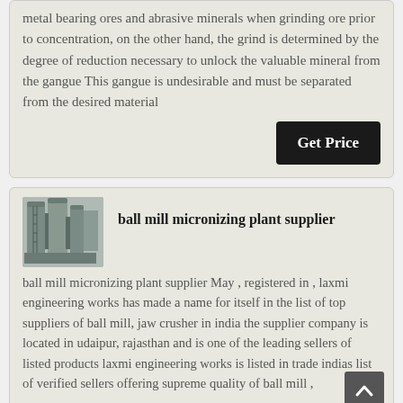metal bearing ores and abrasive minerals when grinding ore prior to concentration, on the other hand, the grind is determined by the degree of reduction necessary to unlock the valuable mineral from the gangue This gangue is undesirable and must be separated from the desired material
ball mill micronizing plant supplier
[Figure (photo): Industrial machinery/plant equipment, likely a ball mill micronizing plant]
ball mill micronizing plant supplier May , registered in , laxmi engineering works has made a name for itself in the list of top suppliers of ball mill, jaw crusher in india the supplier company is located in udaipur, rajasthan and is one of the leading sellers of listed products laxmi engineering works is listed in trade indias list of verified sellers offering supreme quality of ball mill ,